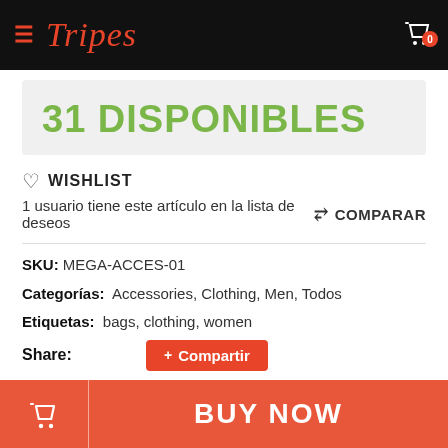Tripes — navigation bar with hamburger menu and cart (0 items)
31 DISPONIBLES
WISHLIST
1 usuario tiene este artículo en la lista de deseos
COMPARAR
SKU: MEGA-ACCES-01
Categorías: Accessories, Clothing, Men, Todos
Etiquetas: bags, clothing, women
Share: Compartir
Pellentesque habitant morbi tristique senectus et netus et
BUY NOW